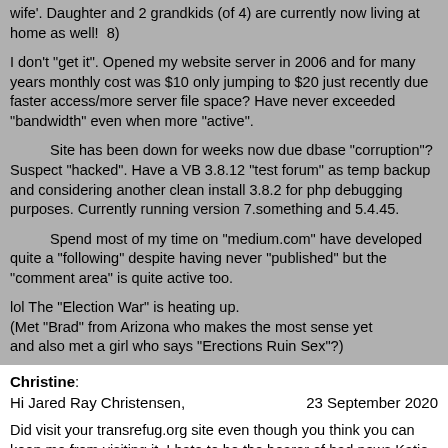wife'. Daughter and 2 grandkids (of 4) are currently now living at home as well!  8)
I don't "get it". Opened my website server in 2006 and for many years monthly cost was $10 only jumping to $20 just recently due faster access/more server file space? Have never exceeded "bandwidth" even when more "active".
Site has been down for weeks now due dbase "corruption"? Suspect "hacked". Have a VB 3.8.12 "test forum" as temp backup and considering another clean install 3.8.2 for php debugging purposes. Currently running version 7.something and 5.4.45.
Spend most of my time on "medium.com" have developed quite a "following" despite having never "published" but the "comment area" is quite active too.
lol The "Election War" is heating up.
(Met "Brad" from Arizona who makes the most sense yet
and also met a girl who says "Erections Ruin Sex"?)
Christine:
Hi Jared Ray Christensen,          23 September 2020
Did visit your transrefug.org site even though you think you can keep me from visiting it. I hate to be the bearer of bad news Katie